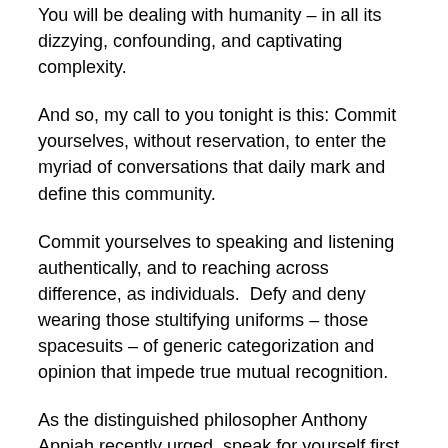You will be dealing with humanity – in all its dizzying, confounding, and captivating complexity.
And so, my call to you tonight is this: Commit yourselves, without reservation, to enter the myriad of conversations that daily mark and define this community.
Commit yourselves to speaking and listening authentically, and to reaching across difference, as individuals.  Defy and deny wearing those stultifying uniforms – those spacesuits – of generic categorization and opinion that impede true mutual recognition.
As the distinguished philosopher Anthony Appiah recently urged, speak for yourself first, drawing upon the many facets of your personal identity…